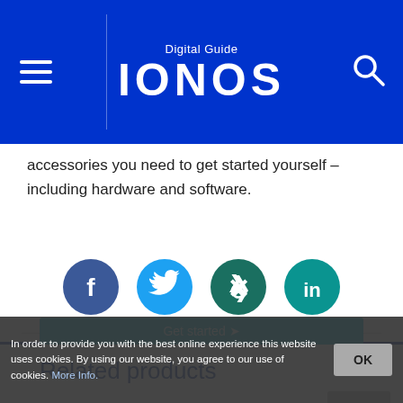Digital Guide IONOS
accessories you need to get started yourself – including hardware and software.
[Figure (other): Social sharing icons: Facebook (dark blue circle with f), Twitter (cyan circle with bird), Xing (dark teal circle with X logo), LinkedIn (teal circle with 'in')]
Related products
[Figure (logo): rankingCoach product with magnifying glass icon]
In order to provide you with the best online experience this website uses cookies. By using our website, you agree to our use of cookies. More Info.